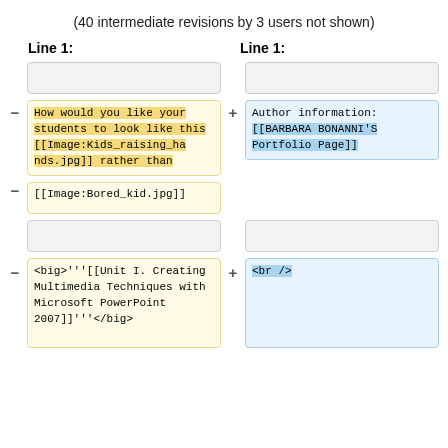(40 intermediate revisions by 3 users not shown)
Line 1:
Line 1:
How would you like your students to look like this [[Image:Kids_raising_hands.jpg]] rather than
Author information: [[BARBARA BONANNI'S Portfolio Page]]
[[Image:Bored_kid.jpg]]
<big>'''[[Unit I. Creating Multimedia Techniques with Microsoft PowerPoint 2007]]'''</big>
<br />